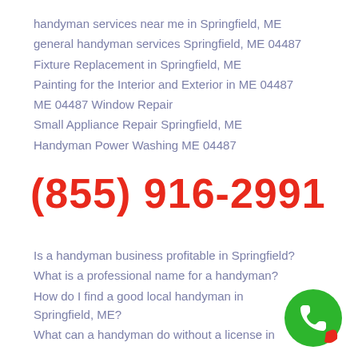handyman services near me in Springfield, ME
general handyman services Springfield, ME 04487
Fixture Replacement in Springfield, ME
Painting for the Interior and Exterior in ME 04487
ME 04487 Window Repair
Small Appliance Repair Springfield, ME
Handyman Power Washing ME 04487
(855) 916-2991
Is a handyman business profitable in Springfield?
What is a professional name for a handyman?
How do I find a good local handyman in Springfield, ME?
What can a handyman do without a license in
[Figure (illustration): Green circle phone icon with a white telephone handset symbol and a red curved accent at the bottom right]